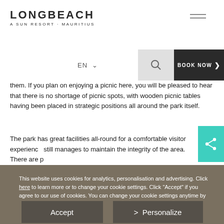[Figure (logo): Longbeach A Sun Resort Mauritius logo with hamburger menu lines]
EN ∨
[Figure (screenshot): Search icon inside light grey box]
BOOK NOW >
them. If you plan on enjoying a picnic here, you will be pleased to hear that there is no shortage of picnic spots, with wooden picnic tables having been placed in strategic positions all around the park itself.
The park has great facilities all-round for a comfortable visitor experience, still manages to maintain the integrity of the area. There are p...
[Figure (other): Teal share button with share icon]
This website uses cookies for analytics, personalisation and advertising. Click here to learn more or to change your cookie settings. Click "Accept" if you agree to our use of cookies. You can change your cookie settings anytime by accessing our Cookie Policy page by clicking on the link in the website's footer.
Accept
> Personalize